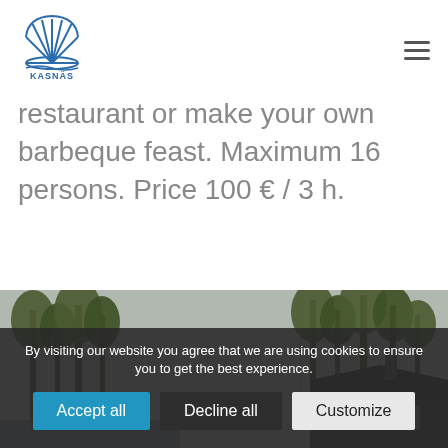[Figure (logo): Kasnäs logo: blue shell/fan icon above the text KASNÄS in blue letters]
restaurant or make your own barbeque feast. Maximum 16 persons. Price 100 € / 3 h.
[Figure (photo): Outdoor photo of tall pine trees against a grey sky with a dark-roofed building visible in the background]
By visiting our website you agree that we are using cookies to ensure you to get the best experience.
Accept all
Decline all
Customize